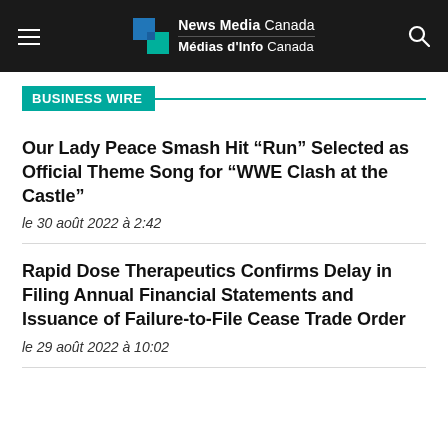News Media Canada / Médias d'Info Canada
BUSINESS WIRE
Our Lady Peace Smash Hit “Run” Selected as Official Theme Song for “WWE Clash at the Castle”
le 30 août 2022 à 2:42
Rapid Dose Therapeutics Confirms Delay in Filing Annual Financial Statements and Issuance of Failure-to-File Cease Trade Order
le 29 août 2022 à 10:02